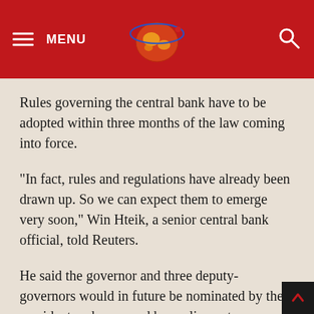MENU [logo] [search]
Rules governing the central bank have to be adopted within three months of the law coming into force.
“In fact, rules and regulations have already been drawn up. So we can expect them to emerge very soon,” Win Hteik, a senior central bank official, told Reuters.
He said the governor and three deputy-governors would in future be nominated by the president and approved by parliament.
He also said the regulations could include details of how joint-venture banks could be set up with foreign lenders.
Foreign banks are not allowed to operate in Burma at